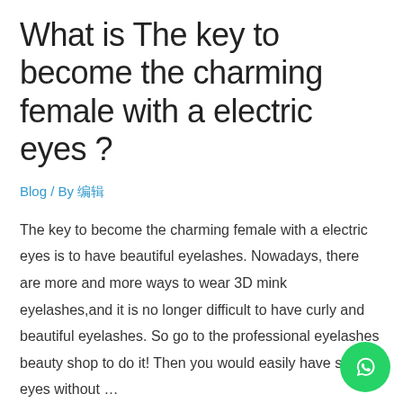What is The key to become the charming female with a electric eyes ?
Blog / By 编辑
The key to become the charming female with a electric eyes is to have beautiful eyelashes. Nowadays, there are more and more ways to wear 3D mink eyelashes,and it is no longer difficult to have curly and beautiful eyelashes. So go to the professional eyelashes beauty shop to do it! Then you would easily have shiny eyes without …
Read More »
What Are 3D Mink Lashes ?